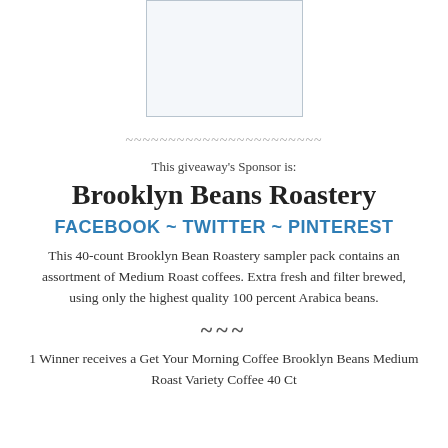[Figure (photo): Product image placeholder - rectangular box with light border on white background]
~~~~~~~~~~~~~~~~~~~~~~~
This giveaway's Sponsor is:
Brooklyn Beans Roastery
FACEBOOK ~ TWITTER ~ PINTEREST
This 40-count Brooklyn Bean Roastery sampler pack contains an assortment of Medium Roast coffees. Extra fresh and filter brewed, using only the highest quality 100 percent Arabica beans.
~~~
1 Winner receives a Get Your Morning Coffee Brooklyn Beans Medium Roast Variety Coffee 40 Ct